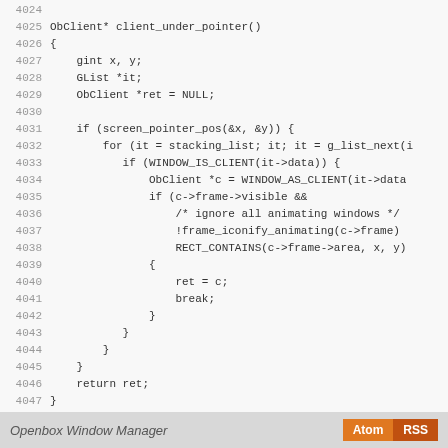Code listing lines 4024-4052: client_under_pointer() and client_has_group_siblings() functions in Openbox Window Manager source code
Openbox Window Manager  Atom  RSS